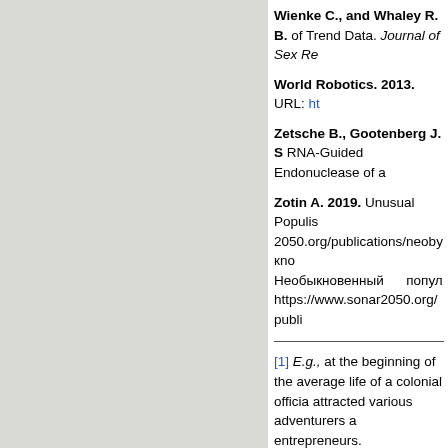Wienke C., and Whaley R. B. of Trend Data. Journal of Sex Re
World Robotics. 2013. URL: ht
Zetsche B., Gootenberg J. S RNA-Guided Endonuclease of a
Zotin A. 2019. Unusual Populism 2050.org/publications/neobyknо Необыкновенный попули https://www.sonar2050.org/publi
[1] E.g., at the beginning of the average life of a colonial official attracted various adventurers a entrepreneurs.
[2] See URL: http://macroevolution.livejournal